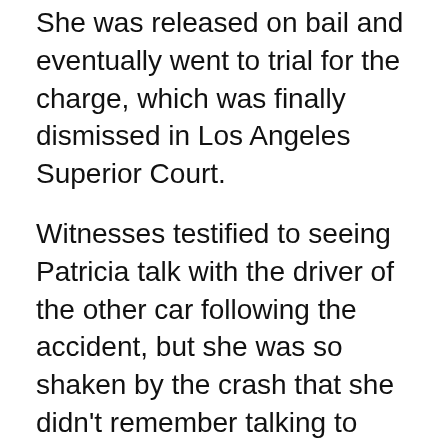She was released on bail and eventually went to trial for the charge, which was finally dismissed in Los Angeles Superior Court.
Witnesses testified to seeing Patricia talk with the driver of the other car following the accident, but she was so shaken by the crash that she didn't remember talking to Patricia or even seeing her.
At the trial, Deputy District Attorney Malcolm Harries informed Patricia that technically she should have provided her name to the driver, but the case was still dismissed.